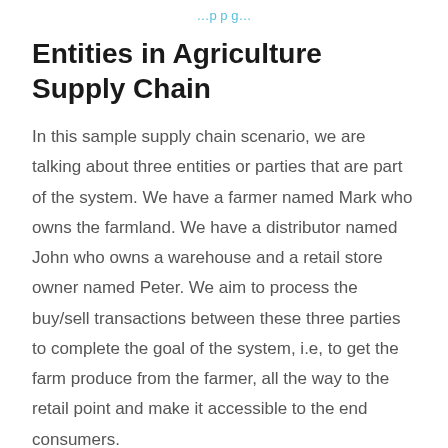…p p g…
Entities in Agriculture Supply Chain
In this sample supply chain scenario, we are talking about three entities or parties that are part of the system. We have a farmer named Mark who owns the farmland. We have a distributor named John who owns a warehouse and a retail store owner named Peter. We aim to process the buy/sell transactions between these three parties to complete the goal of the system, i.e, to get the farm produce from the farmer, all the way to the retail point and make it accessible to the end consumers.